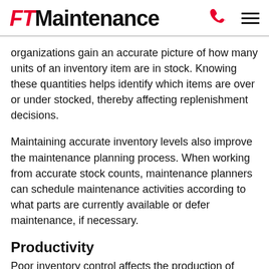FTMaintenance
organizations gain an accurate picture of how many units of an inventory item are in stock. Knowing these quantities helps identify which items are over or under stocked, thereby affecting replenishment decisions.
Maintaining accurate inventory levels also improve the maintenance planning process. When working from accurate stock counts, maintenance planners can schedule maintenance activities according to what parts are currently available or defer maintenance, if necessary.
Productivity
Poor inventory control affects the production of